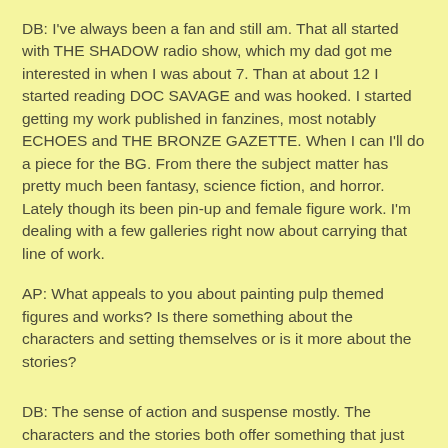DB: I've always been a fan and still am. That all started with THE SHADOW radio show, which my dad got me interested in when I was about 7. Than at about 12 I started reading DOC SAVAGE and was hooked. I started getting my work published in fanzines, most notably ECHOES and THE BRONZE GAZETTE. When I can I'll do a piece for the BG. From there the subject matter has pretty much been fantasy, science fiction, and horror. Lately though its been pin-up and female figure work. I'm dealing with a few galleries right now about carrying that line of work.
AP: What appeals to you about painting pulp themed figures and works? Is there something about the characters and setting themselves or is it more about the stories?
DB: The sense of action and suspense mostly. The characters and the stories both offer something that just gets my imagination really